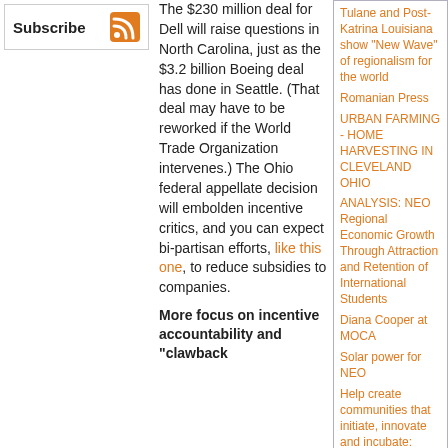Subscribe
The $230 million deal for Dell will raise questions in North Carolina, just as the $3.2 billion Boeing deal has done in Seattle. (That deal may have to be reworked if the World Trade Organization intervenes.) The Ohio federal appellate decision will embolden incentive critics, and you can expect bi-partisan efforts, like this one, to reduce subsidies to companies.
More focus on incentive accountability and "clawback
Tulane and Post-Katrina Louisiana show "New Wave" of regionalism for the world
Romanian Press
URBAN FARMING - HOME HARVESTING IN CLEVELAND OHIO
ANALYSIS: NEO Regional Economic Growth Through Attraction and Retention of International Students
Diana Cooper at MOCA
Solar power for NEO
Help create communities that initiate, innovate and incubate: Journalism That Matters comes to Detroit, June 3-6
Recent blog posts
Corruption at WORK!! Cuyahoga County proposes plan to buy